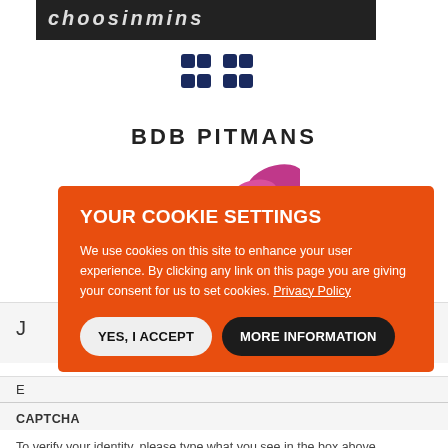[Figure (screenshot): Partial dark banner at the top with white italic bold text partially visible]
[Figure (logo): BDB Pitmans law firm logo: stylized BDB icon in dark navy with text BDB PITMANS below]
[Figure (screenshot): Cookie consent overlay dialog on orange background with title YOUR COOKIE SETTINGS, body text about cookie usage, Privacy Policy link, YES I ACCEPT button and MORE INFORMATION button]
CAPTCHA
To verify your identity, please type what you see in the box above.